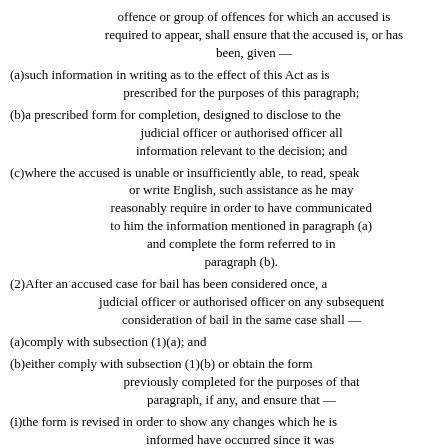offence or group of offences for which an accused is required to appear, shall ensure that the accused is, or has been, given —
(a)such information in writing as to the effect of this Act as is prescribed for the purposes of this paragraph;
(b)a prescribed form for completion, designed to disclose to the judicial officer or authorised officer all information relevant to the decision; and
(c)where the accused is unable or insufficiently able, to read, speak or write English, such assistance as he may reasonably require in order to have communicated to him the information mentioned in paragraph (a) and complete the form referred to in paragraph (b).
(2)After an accused case for bail has been considered once, a judicial officer or authorised officer on any subsequent consideration of bail in the same case shall —
(a)comply with subsection (1)(a); and
(b)either comply with subsection (1)(b) or obtain the form previously completed for the purposes of that paragraph, if any, and ensure that —
(i)the form is revised in order to show any changes which he is informed have occurred since it was